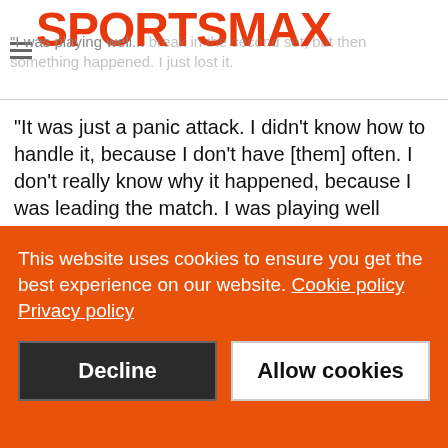SPORTSMAX
"I was playing well... break in the second set, but then something happened. I just lost it.
"It was just a panic attack. I didn't know how to handle it, because I don't have [them] often. I don't really know why it happened, because I was leading the match. I was playing well
"After the match, [it] was pretty tough.  But now I'm good. I'm recovered, and I will learn from this episode. It's good that now I can smile."
On her overall time at Roland Garros, Halep admitted she was happy to come through it unscathed, adding: "Tomorrow is a
This website uses cookies to ensure you get the best experience on our website. Cookie policy
Privacy policy
Decline
Allow cookies